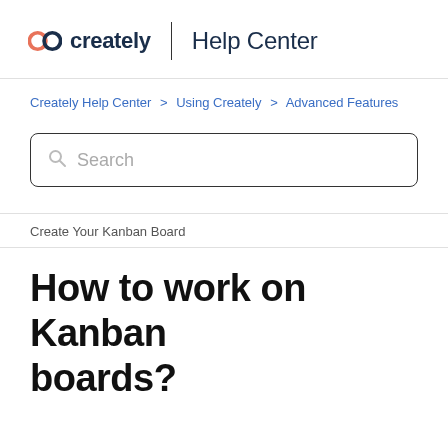creately | Help Center
Creately Help Center > Using Creately > Advanced Features
Search
Create Your Kanban Board
How to work on Kanban boards?